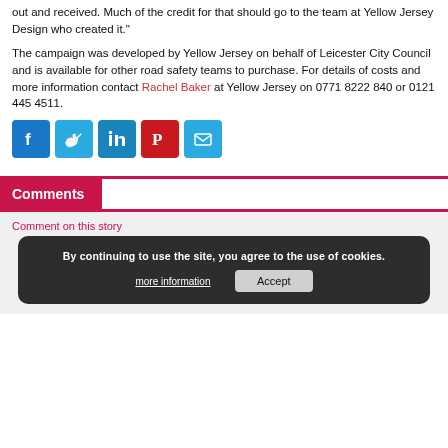out and received. Much of the credit for that should go to the team at Yellow Jersey Design who created it."
The campaign was developed by Yellow Jersey on behalf of Leicester City Council and is available for other road safety teams to purchase. For details of costs and more information contact Rachel Baker at Yellow Jersey on 0771 8222 840 or 0121 445 4511.
[Figure (infographic): Social media share icons: Facebook (blue), Twitter (light blue), LinkedIn (blue), Pinterest (red), Email (light blue)]
Comments
Comment on this story
By continuing to use the site, you agree to the use of cookies. more information  Accept